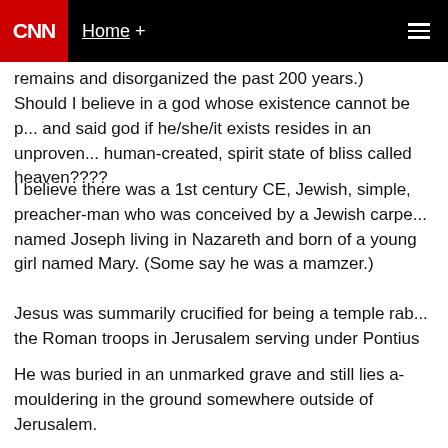CNN | Home +
...remains and disorganized the past 200 years.)
Should I believe in a god whose existence cannot be proven and said god if he/she/it exists resides in an unproven, human-created, spirit state of bliss called heaven?????
I believe there was a 1st century CE, Jewish, simple, preacher-man who was conceived by a Jewish carpenter named Joseph living in Nazareth and born of a young girl named Mary. (Some say he was a mamzer.)
Jesus was summarily crucified for being a temple rabble-rouser by the Roman troops in Jerusalem serving under Pontius...
He was buried in an unmarked grave and still lies a-mouldering in the ground somewhere outside of Jerusalem.
Said Jesus' story was embellished and "mythicized" by many semi-fiction writers. A bodily resurrection and ascension stories were promulgated to compete with...